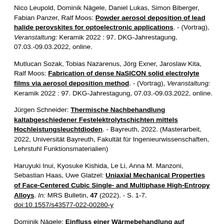Nico Leupold, Dominik Nägele, Daniel Lukas, Simon Biberger, Fabian Panzer, Ralf Moos: Powder aerosol deposition of lead halide perovskites for optoelectronic applications. - (Vortrag), Veranstaltung: Keramik 2022 : 97. DKG-Jahrestagung, 07.03.-09.03.2022, online.
Mutlucan Sozak, Tobias Nazarenus, Jörg Exner, Jaroslaw Kita, Ralf Moos: Fabrication of dense NaSICON solid electrolyte films via aerosol deposition method. - (Vortrag), Veranstaltung: Keramik 2022 : 97. DKG-Jahrestagung, 07.03.-09.03.2022, online.
Jürgen Schneider: Thermische Nachbehandlung kaltabgeschiedener Festelektrolytschichten mittels Hochleistungsleuchtdioden. - Bayreuth, 2022. (Masterarbeit, 2022, Universität Bayreuth, Fakultät für Ingenieurwissenschaften, Lehrstuhl Funktionsmaterialien)
Haruyuki Inui, Kyosuke Kishida, Le Li, Anna M. Manzoni, Sebastian Haas, Uwe Glatzel: Uniaxial Mechanical Properties of Face-Centered Cubic Single- and Multiphase High-Entropy Alloys. In: MRS Bulletin, 47 (2022). - S. 1-7. doi:10.1557/s43577-022-00280-y
Dominik Nägele: Einfluss einer Wärmebehandlung auf